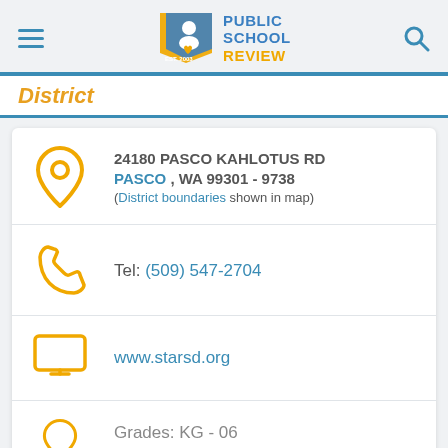Public School Review
District
24180 PASCO KAHLOTUS RD
PASCO , WA 99301 - 9738
(District boundaries shown in map)
Tel: (509) 547-2704
www.starsd.org
Grades: KG - 06